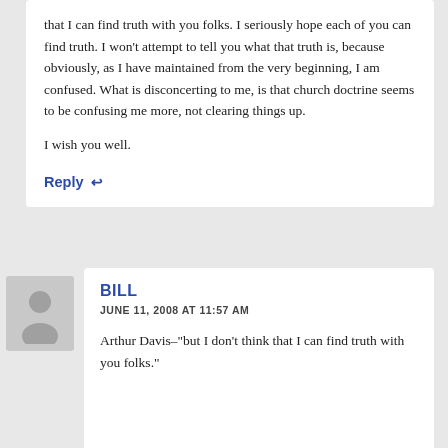that I can find truth with you folks. I seriously hope each of you can find truth. I won't attempt to tell you what that truth is, because obviously, as I have maintained from the very beginning, I am confused. What is disconcerting to me, is that church doctrine seems to be confusing me more, not clearing things up.

I wish you well.
Reply ↩
BILL
JUNE 11, 2008 AT 11:57 AM
Arthur Davis–"but I don't think that I can find truth with you folks."